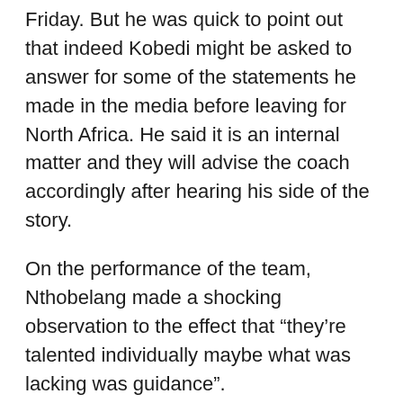Friday. But he was quick to point out that indeed Kobedi might be asked to answer for some of the statements he made in the media before leaving for North Africa. He said it is an internal matter and they will advise the coach accordingly after hearing his side of the story.
On the performance of the team, Nthobelang made a shocking observation to the effect that “they’re talented individually maybe what was lacking was guidance”.
Radio Botswana sports presenter, Tiroyaone Lepotokisi, said that it will be unfair for BFA to fire Kobedi. He pointed out that the boys played well, considering that it was their maiden appearance at the tournament.
“Our opponents were more advanced because most of their players are attached to established academies in